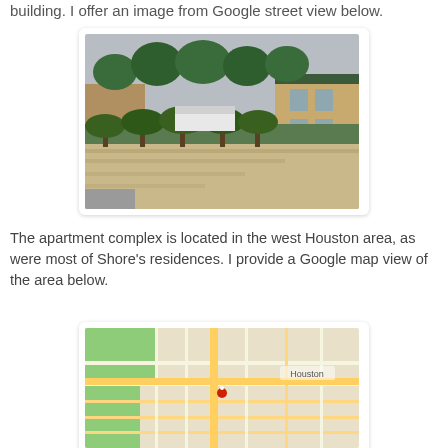building. I offer an image from Google street view below.
[Figure (photo): Google Street View image of an apartment complex in west Houston area, showing a row of trees along a sidewalk, with brick apartment buildings visible in the background.]
The apartment complex is located in the west Houston area, as were most of Shore's residences. I provide a Google map view of the area below.
[Figure (map): Google Maps view of the west Houston area showing road networks, green park areas, and a red location pin marker in the center of the map.]